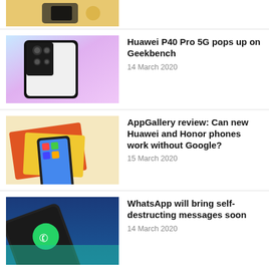[Figure (photo): Partial view of a hand holding a smartphone, cropped at top]
[Figure (photo): Huawei P40 Pro smartphone rear camera module, white color with colorful background]
Huawei P40 Pro 5G pops up on Geekbench
14 March 2020
[Figure (photo): AppGallery on a Huawei phone resting on colorful notebooks]
AppGallery review: Can new Huawei and Honor phones work without Google?
15 March 2020
[Figure (photo): WhatsApp app on a smartphone with blue background]
WhatsApp will bring self-destructing messages soon
14 March 2020
[Figure (photo): Google Pixel 4 smartphone with colorful background showing Soli radar]
See through the eyes of Google Pixel 4's Soli radar custom